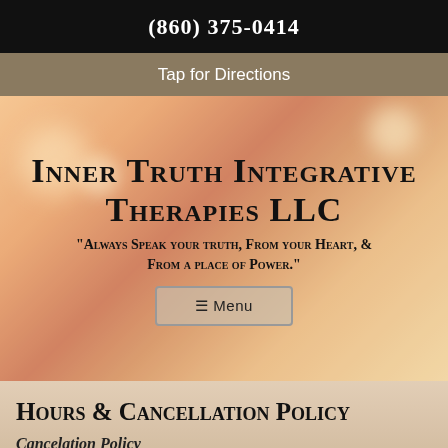(860) 375-0414
Tap for Directions
Inner Truth Integrative Therapies LLC
"Always Speak your truth, From your Heart, & From a place of Power."
≡ Menu
Hours & Cancellation Policy
Cancelation Policy